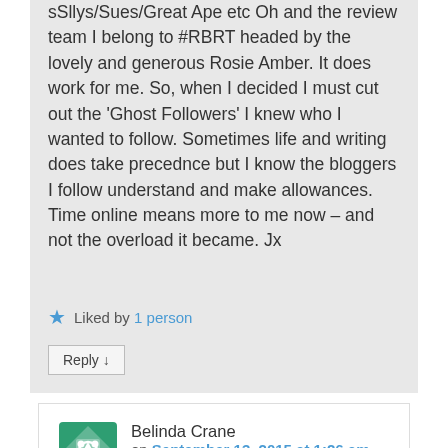sSllys/Sues/Great Ape etc Oh and the review team I belong to #RBRT headed by the lovely and generous Rosie Amber. It does work for me. So, when I decided I must cut out the 'Ghost Followers' I knew who I wanted to follow. Sometimes life and writing does take precednce but I know the bloggers I follow understand and make allowances. Time online means more to me now – and not the overload it became. Jx
Liked by 1 person
Reply ↓
Belinda Crane on September 13, 2015 at 1:26 am said:
I am in the process of "fixing" now.